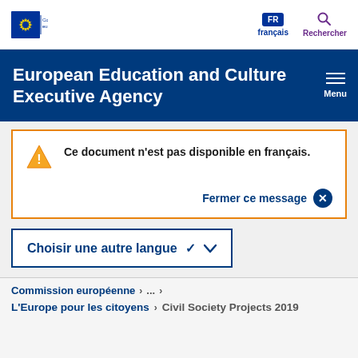[Figure (logo): European Commission logo with stars and text 'Commission européenne']
FR français   Rechercher
European Education and Culture Executive Agency
Ce document n'est pas disponible en français.
Fermer ce message ×
Choisir une autre langue ∨
Commission européenne > ... >
L'Europe pour les citoyens > Civil Society Projects 2019